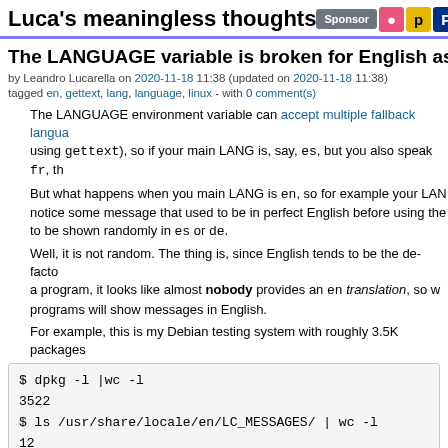Luca's meaningless thoughts
The LANGUAGE variable is broken for English as main la...
by Leandro Lucarella on 2020-11-18 11:38 (updated on 2020-11-18 11:38)
tagged en, gettext, lang, language, linux - with 0 comment(s)
The LANGUAGE environment variable can accept multiple fallback language... using gettext), so if your main LANG is, say, es, but you also speak fr, th...
But what happens when you main LANG is en, so for example your LAN... notice some message that used to be in perfect English before using the ... to be shown randomly in es or de.
Well, it is not random. The thing is, since English tends to be the de-facto... a program, it looks like almost nobody provides an en translation, so w... programs will show messages in English.
For example, this is my Debian testing system with roughly 3.5K packages...
[Figure (screenshot): Terminal code block showing: $ dpkg -l |wc -l
3522
$ ls /usr/share/locale/en/LC_MESSAGES/ | wc -l
12]
Only 12 packages have a plain English locale. en_GB does a bit better:
[Figure (screenshot): Terminal code block showing: $ ls /usr/share/locale/en_GB/LC_MESSAGES/ | wc -l]